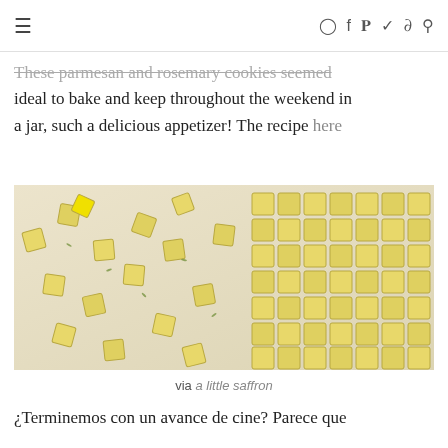≡  (instagram) (facebook) (pinterest) (twitter) (rss) (search)
These parmesan and rosemary cookies seemed ideal to bake and keep throughout the weekend in a jar, such a delicious appetizer! The recipe here
[Figure (photo): Photo of parmesan and rosemary crackers/cookies scattered on parchment paper, some still in a grid pattern on the right, others spread out on the left.]
via a little saffron
¿Terminemos con un avance de cine? Parece que